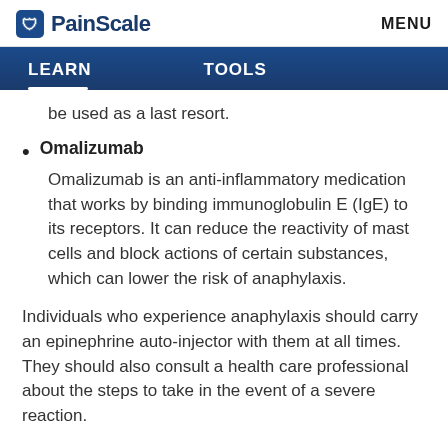PainScale | MENU
LEARN | TOOLS
be used as a last resort.
Omalizumab
Omalizumab is an anti-inflammatory medication that works by binding immunoglobulin E (IgE) to its receptors. It can reduce the reactivity of mast cells and block actions of certain substances, which can lower the risk of anaphylaxis.
Individuals who experience anaphylaxis should carry an epinephrine auto-injector with them at all times. They should also consult a health care professional about the steps to take in the event of a severe reaction.